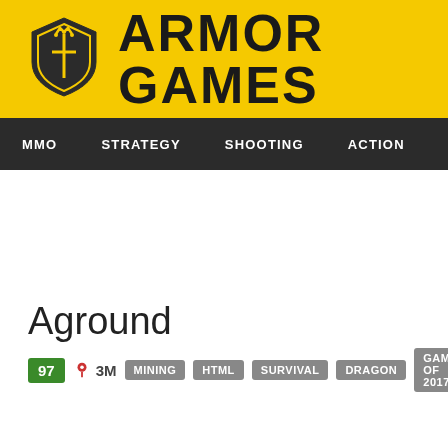[Figure (logo): Armor Games logo — yellow banner with shield icon and bold ARMOR GAMES text]
MMO  STRATEGY  SHOOTING  ACTION  ADVENTURE  P
Aground
97  🎮 3M  MINING  HTML  SURVIVAL  DRAGON  GAMES OF 2017